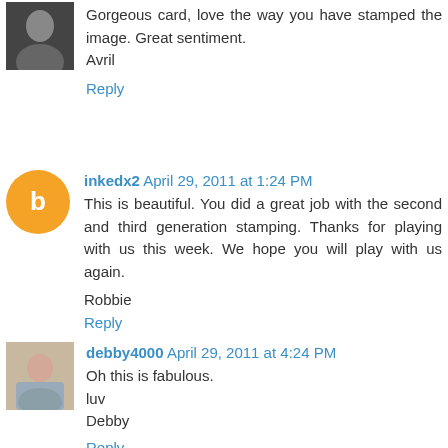Gorgeous card, love the way you have stamped the image. Great sentiment.
Avril
Reply
inkedx2  April 29, 2011 at 1:24 PM
This is beautiful. You did a great job with the second and third generation stamping. Thanks for playing with us this week. We hope you will play with us again.

Robbie
Reply
debby4000  April 29, 2011 at 4:24 PM
Oh this is fabulous.
luv
Debby
Reply